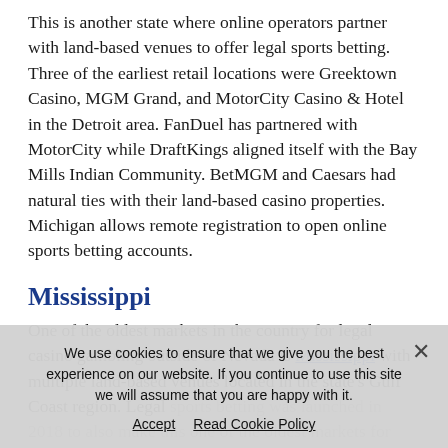This is another state where online operators partner with land-based venues to offer legal sports betting. Three of the earliest retail locations were Greektown Casino, MGM Grand, and MotorCity Casino & Hotel in the Detroit area. FanDuel has partnered with MotorCity while DraftKings aligned itself with the Bay Mills Indian Community. BetMGM and Caesars had natural ties with their land-based casino properties. Michigan allows remote registration to open online sports betting accounts.
Mississippi
One of the oldest markets in the country for legal casino gambling outside of Nevada is Mississippi with multiple land-based venues located in the state's Gulf Coast region. Legal sports betting was launched in 2018 to also make this one of the oldest markets for legal online gaming activity. Tied to the existing land-based casino network, the change in law did not provide for legal online sports betting. Efforts to
We use cookies to ensure that we give you the best experience on our website. If you continue to use this site we will assume that you are happy with it.